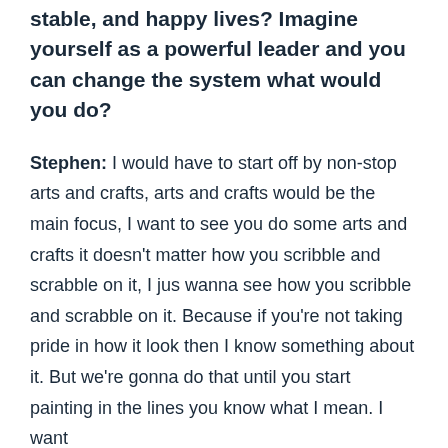stable, and happy lives? Imagine yourself as a powerful leader and you can change the system what would you do?
Stephen: I would have to start off by non-stop arts and crafts, arts and crafts would be the main focus, I want to see you do some arts and crafts it doesn't matter how you scribble and scrabble on it, I jus wanna see how you scribble and scrabble on it. Because if you're not taking pride in how it look then I know something about it. But we're gonna do that until you start painting in the lines you know what I mean. I want